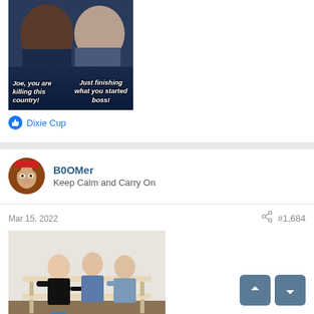[Figure (photo): A meme image showing two men laughing with text overlay: 'Joe, you are killing this country!' and 'Just finishing what you started boss!']
Dixie Cup
B0OMer
Keep Calm and Carry On
Mar 15, 2022
#1,684
[Figure (photo): A photo showing three people sitting on a bench viewed from behind, with two blue containers on the floor.]